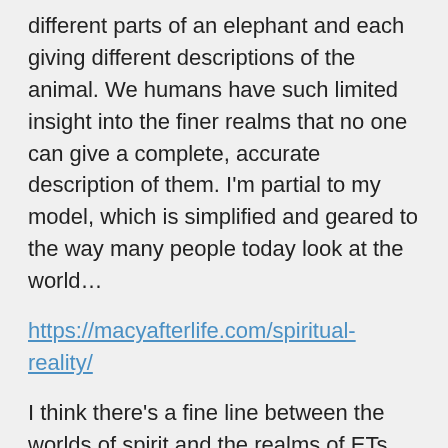different parts of an elephant and each giving different descriptions of the animal. We humans have such limited insight into the finer realms that no one can give a complete, accurate description of them. I'm partial to my model, which is simplified and geared to the way many people today look at the world…
https://macyafterlife.com/spiritual-reality/
I think there's a fine line between the worlds of spirit and the realms of ETs and UFOs. Both exist in realms of subtle vibration beyond our senses and sciences. Our spirit friends have made reference to various types of extraterresrial beings who